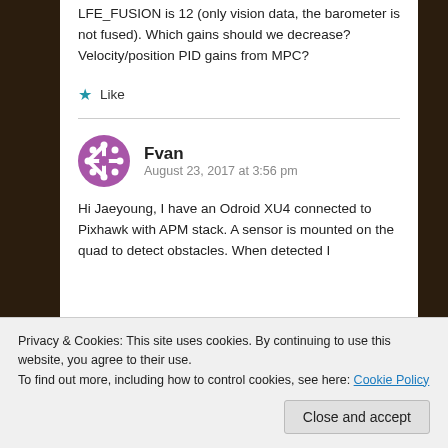LFE_FUSION is 12 (only vision data, the barometer is not fused). Which gains should we decrease? Velocity/position PID gains from MPC?
Like
Fvan  August 23, 2017 at 3:56 pm
Hi Jaeyoung, I have an Odroid XU4 connected to Pixhawk with APM stack. A sensor is mounted on the quad to detect obstacles. When detected I
Privacy & Cookies: This site uses cookies. By continuing to use this website, you agree to their use.
To find out more, including how to control cookies, see here: Cookie Policy
Close and accept